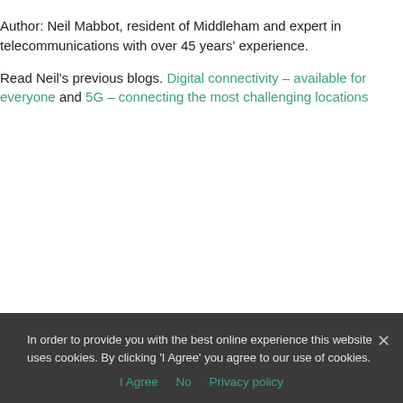Author: Neil Mabbot, resident of Middleham and expert in telecommunications with over 45 years' experience.
Read Neil's previous blogs. Digital connectivity – available for everyone and 5G – connecting the most challenging locations
In order to provide you with the best online experience this website uses cookies. By clicking 'I Agree' you agree to our use of cookies. I Agree No Privacy policy